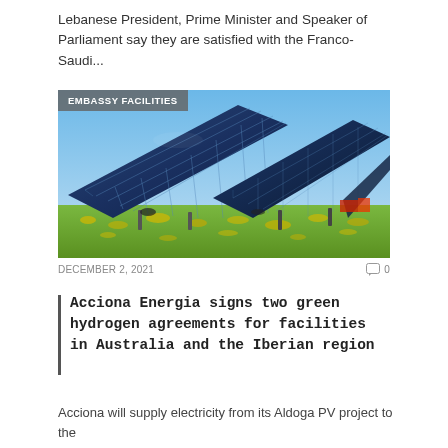Lebanese President, Prime Minister and Speaker of Parliament say they are satisfied with the Franco-Saudi...
[Figure (photo): Solar panel array in a green field under blue sky, with 'EMBASSY FACILITIES' badge overlay in top-left corner]
DECEMBER 2, 2021   💬 0
Acciona Energia signs two green hydrogen agreements for facilities in Australia and the Iberian region
Acciona will supply electricity from its Aldoga PV project to the